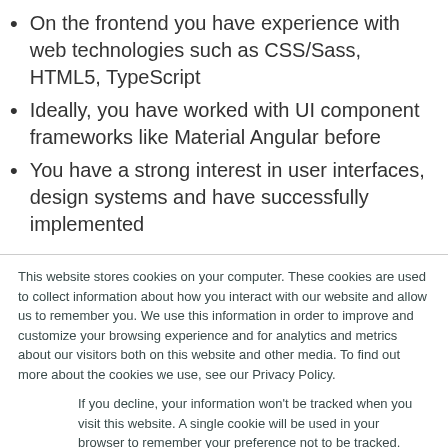On the frontend you have experience with web technologies such as CSS/Sass, HTML5, TypeScript
Ideally, you have worked with UI component frameworks like Material Angular before
You have a strong interest in user interfaces, design systems and have successfully implemented
This website stores cookies on your computer. These cookies are used to collect information about how you interact with our website and allow us to remember you. We use this information in order to improve and customize your browsing experience and for analytics and metrics about our visitors both on this website and other media. To find out more about the cookies we use, see our Privacy Policy.
If you decline, your information won't be tracked when you visit this website. A single cookie will be used in your browser to remember your preference not to be tracked.